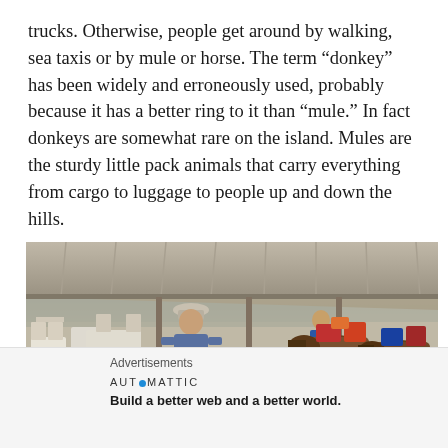trucks. Otherwise, people get around by walking, sea taxis or by mule or horse. The term “donkey” has been widely and erroneously used, probably because it has a better ring to it than “mule.” In fact donkeys are somewhat rare on the island. Mules are the sturdy little pack animals that carry everything from cargo to luggage to people up and down the hills.
[Figure (photo): Outdoor covered waterfront area with mules loaded with colorful packs being led by a man wearing a hat and denim jacket, with a person in blue jacket visible in the background, boats visible in the water, and white cafe chairs/tables on the left side.]
Advertisements
AUTOMATTIC
Build a better web and a better world.